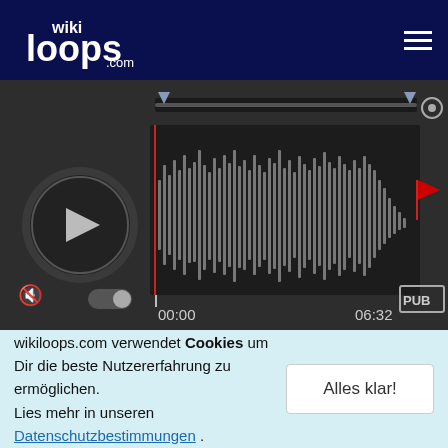[Figure (screenshot): wikiloops.com website header with navy background, wiki loops logo on left and hamburger menu on right]
[Figure (screenshot): Audio player with waveform display, play button, time markers 00:00 and 06:32, volume control, and PUB badge]
120 jams ⭐
Es gibt noch keinen Remix von dieser Session!
Daumen:    Hochgeladen:    Hörer:
wikiloops.com verwendet Cookies um Dir die beste Nutzererfahrung zu ermöglichen.
Lies mehr in unseren Datenschutzbestimmungen .
Alles klar!